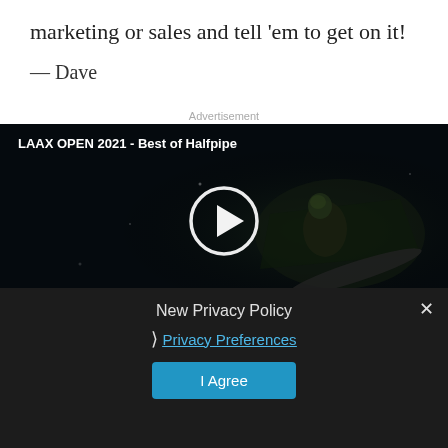marketing or sales and tell 'em to get on it!
— Dave
Advertisement
[Figure (screenshot): Video thumbnail showing snowboarder at night with play button overlay. Title: LAAX OPEN 2021 - Best of Halfpipe]
New Privacy Policy
❯ Privacy Preferences
I Agree
✕
SHARE THIS:
Twitter
Facebook
LinkedIn
Reddit
Tumblr